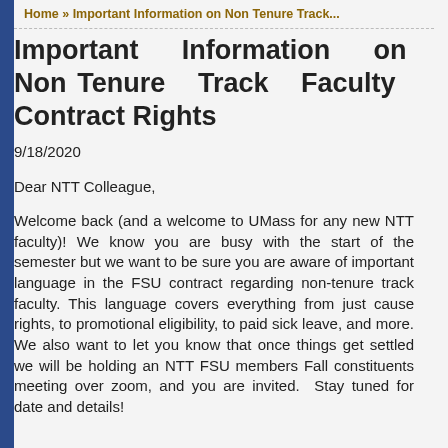Home » Important Information on Non Tenure Track...
Important Information on Non Tenure Track Faculty Contract Rights
9/18/2020
Dear NTT Colleague,
Welcome back (and a welcome to UMass for any new NTT faculty)! We know you are busy with the start of the semester but we want to be sure you are aware of important language in the FSU contract regarding non-tenure track faculty. This language covers everything from just cause rights, to promotional eligibility, to paid sick leave, and more. We also want to let you know that once things get settled we will be holding an NTT FSU members Fall constituents meeting over zoom, and you are invited.  Stay tuned for date and details!